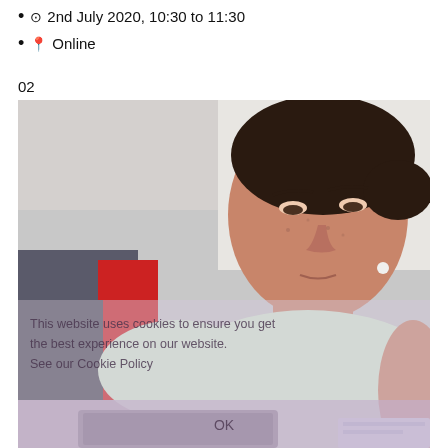2nd July 2020, 10:30 to 11:30
Online
02
[Figure (photo): A middle-aged woman with dark hair tied back, wearing a light green top, looking down at a laptop. She appears to be on public transport. A red seat is visible in the background. A semi-transparent cookie consent overlay is visible over the lower portion of the image with text 'This website uses cookies to ensure you get the best experience on our website. See our Cookie Policy' and an OK button.]